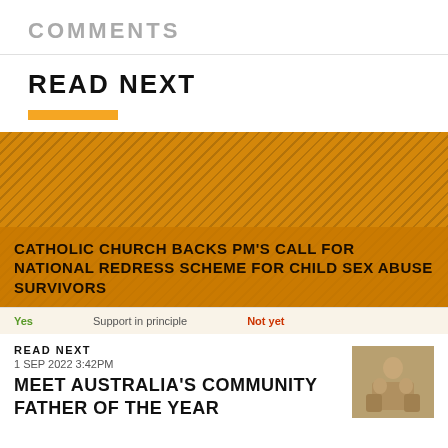COMMENTS
READ NEXT
[Figure (photo): Article card with orange/amber toned background photo, showing article headline about Catholic Church backing PM's call for national redress scheme for child sex abuse survivors]
Yes   Support in principle   Not yet
READ NEXT
1 SEP 2022 3:42PM
MEET AUSTRALIA'S COMMUNITY FATHER OF THE YEAR
[Figure (photo): Thumbnail photo of a man with family members sitting on steps]